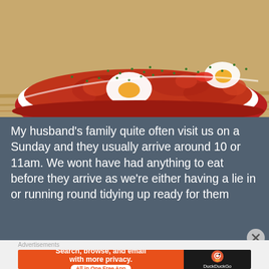[Figure (photo): A red ceramic baking dish containing shakshuka — eggs poached in tomato sauce, garnished with chopped green herbs, on a wooden surface.]
My husband's family quite often visit us on a Sunday and they usually arrive around 10 or 11am. We wont have had anything to eat before they arrive as we're either having a lie in or running round tidying up ready for them
Advertisements
[Figure (screenshot): DuckDuckGo advertisement banner: orange left panel reads 'Search, browse, and email with more privacy. All in One Free App'; black right panel shows DuckDuckGo logo and name.]